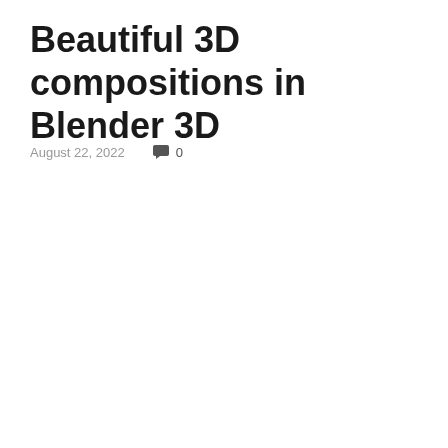Beautiful 3D compositions in Blender 3D
August 22, 2022   0